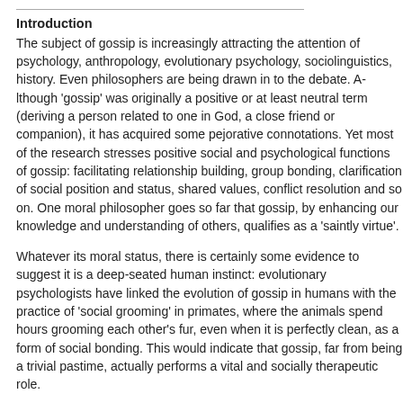Introduction
The subject of gossip is increasingly attracting the attention of psychology, anthropology, evolutionary psychology, sociolinguistics, history. Even philosophers are being drawn in to the debate. Although 'gossip' was originally a positive or at least neutral term (denoting a person related to one in God, a close friend or companion), it has acquired some pejorative connotations. Yet most of the research stresses positive social and psychological functions of gossip: facilitating relationship building, group bonding, clarification of social position and status, shared values, conflict resolution and so on. One moral philosopher goes so far as to say that gossip, by enhancing our knowledge and understanding of others, actually qualifies as a 'saintly virtue'.
Whatever its moral status, there is certainly some evidence to suggest it is a deep-seated human instinct: evolutionary psychologists have linked the evolution of gossip in humans with the practice of 'social grooming' in primates, where the animals spend hours grooming each other's fur, even when it is perfectly clean, as a form of social bonding. This would indicate that gossip, far from being a trivial pastime, actually performs a vital and socially therapeutic role.